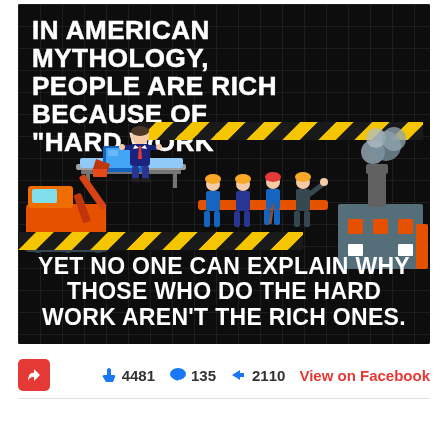[Figure (infographic): Dark grid-background infographic with two text blocks and construction/labor illustration. Top text: 'IN AMERICAN MYTHOLOGY, PEOPLE ARE RICH BECAUSE OF "HARD WORK"'. Bottom text: 'YET NO ONE CAN EXPLAIN WHY THOSE WHO DO THE HARD WORK AREN'T THE RICH ONES.' Illustration shows a businessman at a floating desk above construction workers with an excavator and factory.]
👍 4481  💬 135  ➦ 2110  View on Facebook